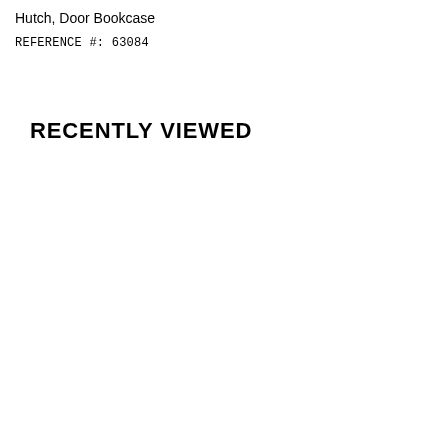Hutch, Door Bookcase
REFERENCE #: 63084
RECENTLY VIEWED